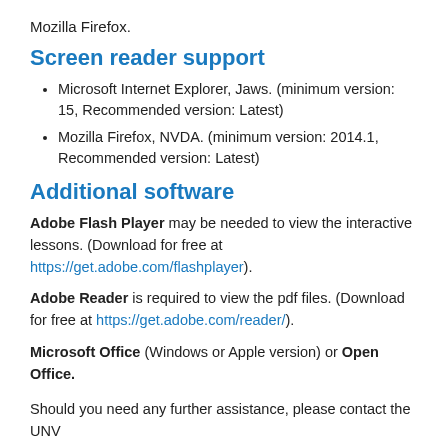Mozilla Firefox.
Screen reader support
Microsoft Internet Explorer, Jaws. (minimum version: 15, Recommended version: Latest)
Mozilla Firefox, NVDA. (minimum version: 2014.1, Recommended version: Latest)
Additional software
Adobe Flash Player may be needed to view the interactive lessons. (Download for free at https://get.adobe.com/flashplayer).
Adobe Reader is required to view the pdf files. (Download for free at https://get.adobe.com/reader/).
Microsoft Office (Windows or Apple version) or Open Office.
Should you need any further assistance, please contact the UNV